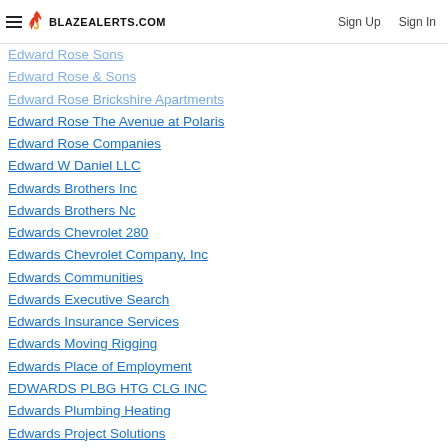BLAZEALERTS.COM | Sign Up | Sign In
Edward Rose Sons
Edward Rose & Sons
Edward Rose Brickshire Apartments
Edward Rose The Avenue at Polaris
Edward Rose Companies
Edward W Daniel LLC
Edwards Brothers Inc
Edwards Brothers Nc
Edwards Chevrolet 280
Edwards Chevrolet Company, Inc
Edwards Communities
Edwards Executive Search
Edwards Insurance Services
Edwards Moving Rigging
Edwards Place of Employment
EDWARDS PLBG HTG CLG INC
Edwards Plumbing Heating
Edwards Project Solutions
EDWARDSBURG PUBLIC SCHOOLS
Edwardsville CUSD 7ATTN: DEANNE
Edwardsville CUSD 7ATTN: DEANNE
EERecruiters